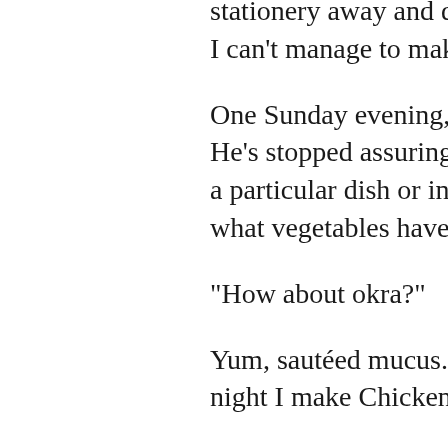stationery away and doing so— I can't manage to make it easie
One Sunday evening, as Greg c He's stopped assuring me I don a particular dish or ingredient. " what vegetables have you beer
"How about okra?"
Yum, sautéed mucus. "Ok, I'll g night I make Chicken Satay?"
He looks at me blankly.
"It's the stir-fry I make with the p go with it...? We have it like onc
"Oh, I love that."